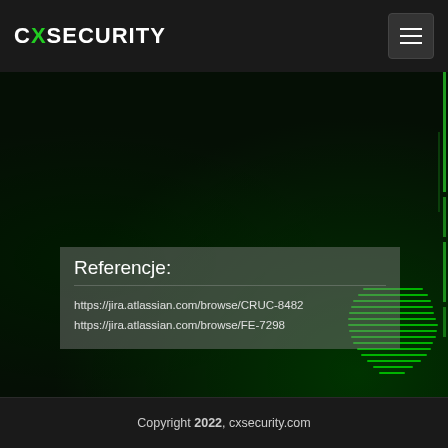CXSECURITY
Referencje:
https://jira.atlassian.com/browse/CRUC-8482
https://jira.atlassian.com/browse/FE-7298
Copyright 2022, cxsecurity.com